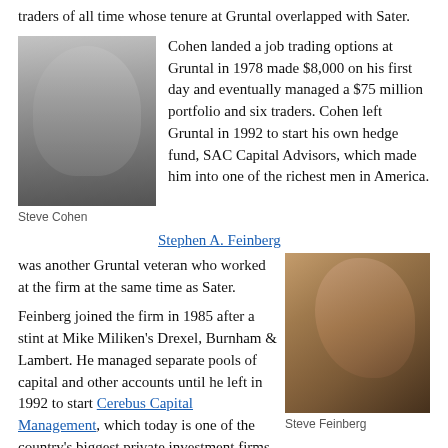traders of all time whose tenure at Gruntal overlapped with Sater.
[Figure (photo): Black and white photo of Steve Cohen, a bald heavyset man in a dark suit]
Cohen landed a job trading options at Gruntal in 1978 made $8,000 on his first day and eventually managed a $75 million portfolio and six traders. Cohen left Gruntal in 1992 to start his own hedge fund, SAC Capital Advisors, which made him into one of the richest men in America.
Steve Cohen
Stephen A. Feinberg was another Gruntal veteran who worked at the firm at the same time as Sater.
[Figure (photo): Color photo of Steve Feinberg, a middle-aged man with light brown hair in profile/three-quarter view]
Steve Feinberg
Feinberg joined the firm in 1985 after a stint at Mike Miliken's Drexel, Burnham & Lambert. He managed separate pools of capital and other accounts until he left in 1992 to start Cerebus Capital Management, which today is one of the country's biggest private investment firms.
Feinberg is also a member of Trump's Council of Economic Advisers. In